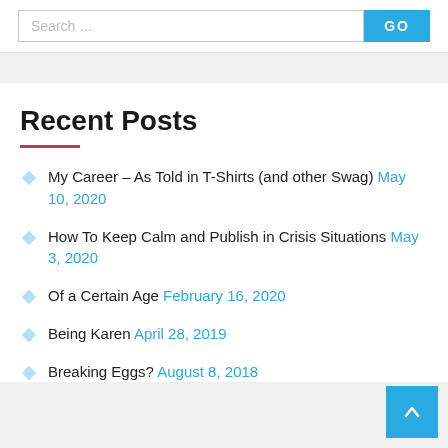Search ...  GO
Recent Posts
My Career – As Told in T-Shirts (and other Swag) May 10, 2020
How To Keep Calm and Publish in Crisis Situations May 3, 2020
Of a Certain Age February 16, 2020
Being Karen April 28, 2019
Breaking Eggs? August 8, 2018